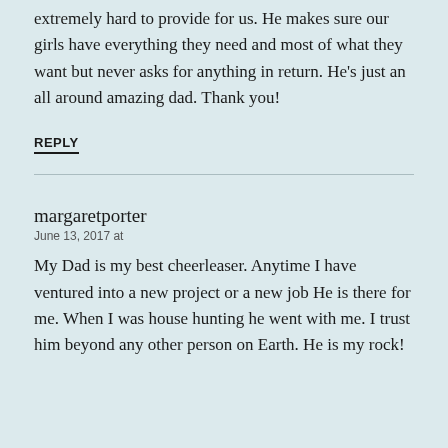extremely hard to provide for us. He makes sure our girls have everything they need and most of what they want but never asks for anything in return. He’s just an all around amazing dad. Thank you!
REPLY
margaretporter
June 13, 2017 at
My Dad is my best cheerleaser. Anytime I have ventured into a new project or a new job He is there for me. When I was house hunting he went with me. I trust him beyond any other person on Earth. He is my rock!